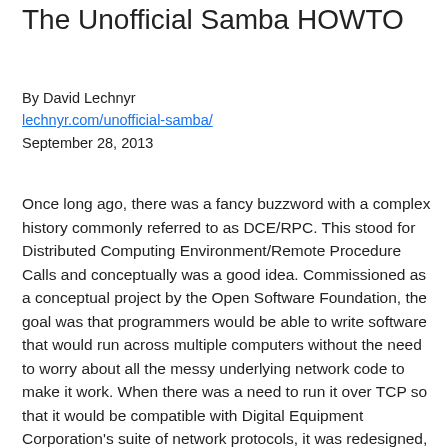The Unofficial Samba HOWTO
By David Lechnyr
lechnyr.com/unofficial-samba/
September 28, 2013
Once long ago, there was a fancy buzzword with a complex history commonly referred to as DCE/RPC. This stood for Distributed Computing Environment/Remote Procedure Calls and conceptually was a good idea. Commissioned as a conceptual project by the Open Software Foundation, the goal was that programmers would be able to write software that would run across multiple computers without the need to worry about all the messy underlying network code to make it work. When there was a need to run it over TCP so that it would be compatible with Digital Equipment Corporation's suite of network protocols, it was redesigned, re-submitted and officially became known as DCE/RPC.